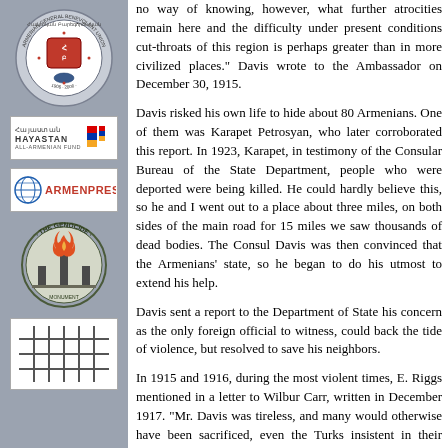[Figure (logo): Armenian General Benevolent Union circular seal/logo with text around the border and emblem in center]
[Figure (logo): Hayastan All-Armenian Fund banner logo with Armenian text and tricolor flag symbol]
[Figure (logo): Armenpress news agency logo with globe and text]
[Figure (logo): The Genocide monument logo - circular badge with flame and text]
[Figure (logo): Grid/lattice pattern logo in white box]
no way of knowing, however, what further atrocities remain here and the difficulty under present conditions cut-throats of this region is perhaps greater than in more civilized places." Davis wrote to the Ambassador on December 30, 1915.

Davis risked his own life to hide about 80 Armenians. One of them was Karapet Petrosyan, who later corroborated this report. In 1923, Karapet, in testimony of the Consular Bureau of the State Department, people who were deported were being killed. He could hardly believe this, so he and I went out to a place about three miles, on both sides of the main road for 15 miles we saw thousands of dead bodies. The Consul Davis was then convinced that the Armenians' state, so he began to do his utmost to extend his help.

Davis sent a report to the Department of State his concern as the only foreign official to witness, could back the tide of violence, but resolved to save his neighbors.

In 1915 and 1916, during the most violent times, E. Riggs mentioned in a letter to Wilbur Carr, written in December 1917. "Mr. Davis was tireless, and many would otherwise have been sacrificed, even the Turks insistent in their denial of the consul's 'meddling in affairs'."

Some of Armenians sheltered at the American consulate. After the deportation of Kharberd the only Armenians found shelter in the American Consulate. Staff who got permission for temporary re...